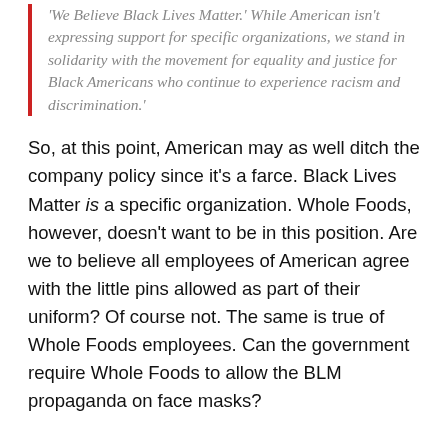'We Believe Black Lives Matter.' While American isn't expressing support for specific organizations, we stand in solidarity with the movement for equality and justice for Black Americans who continue to experience racism and discrimination.'
So, at this point, American may as well ditch the company policy since it's a farce. Black Lives Matter is a specific organization. Whole Foods, however, doesn't want to be in this position. Are we to believe all employees of American agree with the little pins allowed as part of their uniform? Of course not. The same is true of Whole Foods employees. Can the government require Whole Foods to allow the BLM propaganda on face masks?